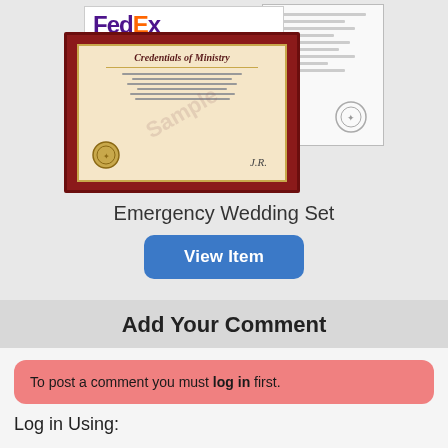[Figure (photo): Product photo of Emergency Wedding Set including a framed Credentials of Ministry certificate, FedEx Express shipping label, and associated documents]
Emergency Wedding Set
View Item
Add Your Comment
To post a comment you must log in first.
Log in Using: